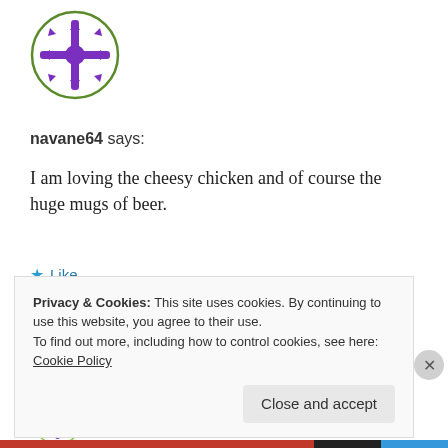[Figure (illustration): Purple avatar icon — circular snowflake/cross pattern in purple on white with green-purple circular border]
navane64 says:
I am loving the cheesy chicken and of course the huge mugs of beer.
★ Like
June 24, 2012 at 10:07 am
« REPLY
Privacy & Cookies: This site uses cookies. By continuing to use this website, you agree to their use.
To find out more, including how to control cookies, see here:
Cookie Policy
Close and accept